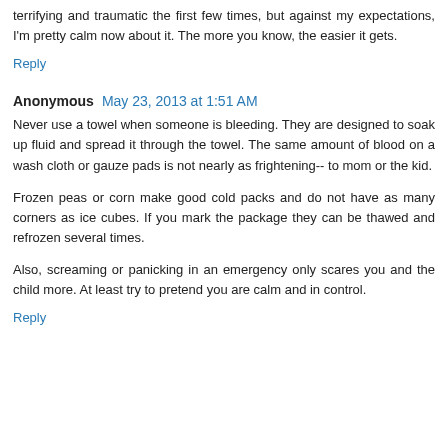terrifying and traumatic the first few times, but against my expectations, I'm pretty calm now about it. The more you know, the easier it gets.
Reply
Anonymous  May 23, 2013 at 1:51 AM
Never use a towel when someone is bleeding. They are designed to soak up fluid and spread it through the towel. The same amount of blood on a wash cloth or gauze pads is not nearly as frightening-- to mom or the kid.
Frozen peas or corn make good cold packs and do not have as many corners as ice cubes. If you mark the package they can be thawed and refrozen several times.
Also, screaming or panicking in an emergency only scares you and the child more. At least try to pretend you are calm and in control.
Reply